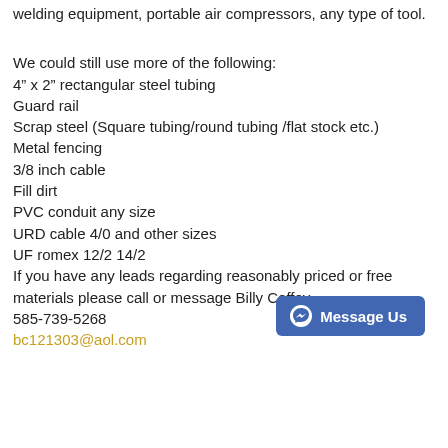welding equipment, portable air compressors, any type of tool.
We could still use more of the following:
4" x 2" rectangular steel tubing
Guard rail
Scrap steel (Square tubing/round tubing /flat stock etc.)
Metal fencing
3/8 inch cable
Fill dirt
PVC conduit any size
URD cable 4/0 and other sizes
UF romex 12/2 14/2
If you have any leads regarding reasonably priced or free materials please call or message Billy Coffey
585-739-5268
bc121303@aol.com